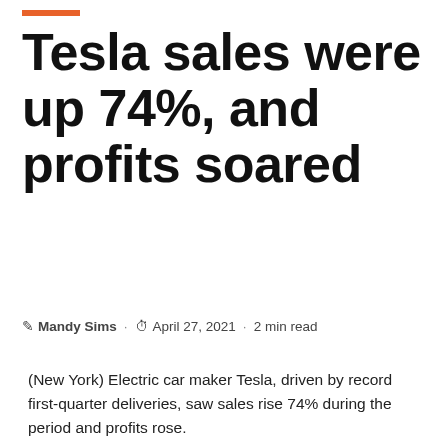Tesla sales were up 74%, and profits soared
✎ Mandy Sims · ⏱ April 27, 2021 · 2 min read
(New York) Electric car maker Tesla, driven by record first-quarter deliveries, saw sales rise 74% during the period and profits rose.